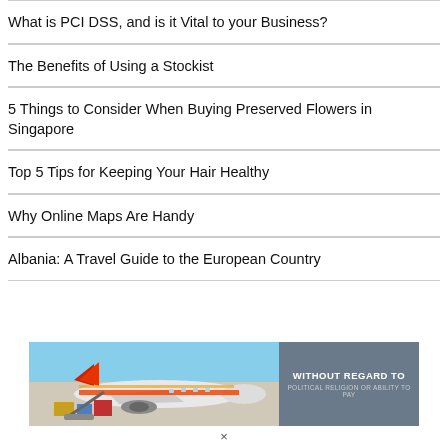What is PCI DSS, and is it Vital to your Business?
The Benefits of Using a Stockist
5 Things to Consider When Buying Preserved Flowers in Singapore
Top 5 Tips for Keeping Your Hair Healthy
Why Online Maps Are Handy
Albania: A Travel Guide to the European Country
[Figure (photo): Advertisement banner showing cargo being loaded onto a colorful Southwest Airlines-style aircraft, with overlay text reading WITHOUT REGARD TO POLITICAL RELIGION OR ABILITY TO PAY]